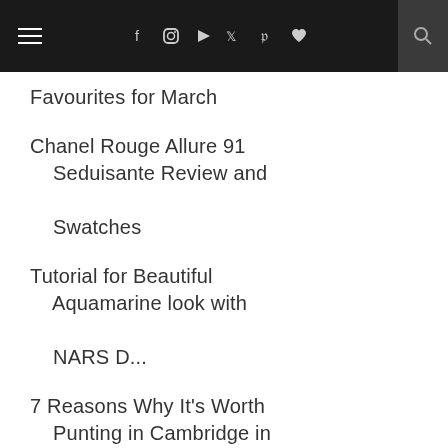Navigation bar with hamburger menu, social icons (f, instagram, youtube, twitter, pinterest, heart), and search
Favourites for March
Chanel Rouge Allure 91 Seduisante Review and Swatches
Tutorial for Beautiful Aquamarine look with NARS D...
7 Reasons Why It's Worth Punting in Cambridge in W...
Fashion Haul : Zara and Topshop Spring '15